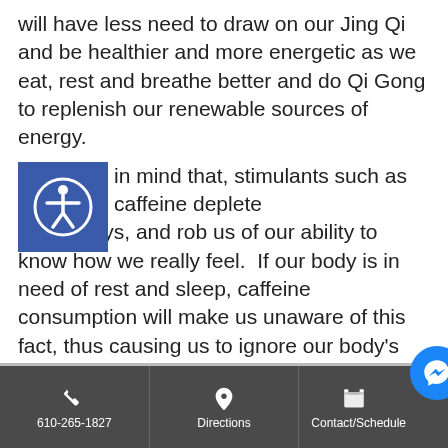will have less need to draw on our Jing Qi and be healthier and more energetic as we eat, rest and breathe better and do Qi Gong to replenish our renewable sources of energy.
Bear in mind that, stimulants such as caffeine deplete the kidneys, and rob us of our ability to know how we really feel.  If our body is in need of rest and sleep, caffeine consumption will make us unaware of this fact, thus causing us to ignore our body's needs.  This can then contribute to the unnecessary depletion of our Jing Qi.
In order to maintain and cultivate health, it is important to nurture and nourish our kidney energy. Now is the perfect time to recharge your internal kidney batteries. Acupuncture, yoga, Tai Chi, quiet reflection, meditation,
610-265-1827  Directions  Contact/Schedule